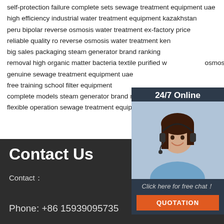self-protection failure complete sets sewage treatment equipment uae
high efficiency industrial water treatment equipment kazakhstan
peru bipolar reverse osmosis water treatment ex-factory price
reliable quality ro reverse osmosis water treatment kenya
big sales packaging steam generator brand ranking
removal high organic matter bacteria textile purified water reverse osmosis system
genuine sewage treatment equipment uae
free training school filter equipment
complete models steam generator brand ranking aust
flexible operation sewage treatment equipment nigeria
[Figure (illustration): Customer service representative with headset, 24/7 Online chat widget with QUOTATION button]
Contact Us
Contact：
Phone: +86 15939095735